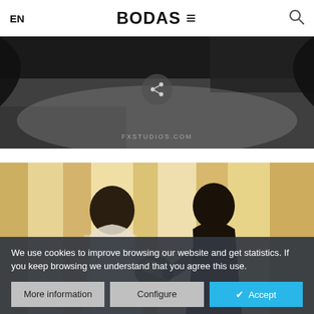EN   BODAS ≡   🔍
[Figure (photo): Top portion of a dark photography equipment/camera image with a circular share icon overlay and fxstudios.com watermark]
[Figure (photo): Silhouette of a bride and groom holding a bouquet, backlit by curtained windows — a wedding photograph]
We use cookies to improve browsing our website and get statistics. If you keep browsing we understand that you agree this use.
More information   Configure   ✓ Accept